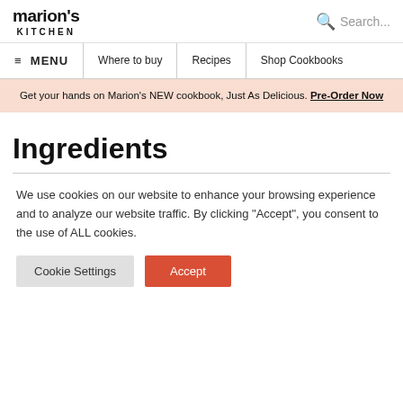marion's KITCHEN
Search...
≡ MENU | Where to buy | Recipes | Shop Cookbooks
Get your hands on Marion's NEW cookbook, Just As Delicious. Pre-Order Now
Ingredients
We use cookies on our website to enhance your browsing experience and to analyze our website traffic. By clicking "Accept", you consent to the use of ALL cookies.